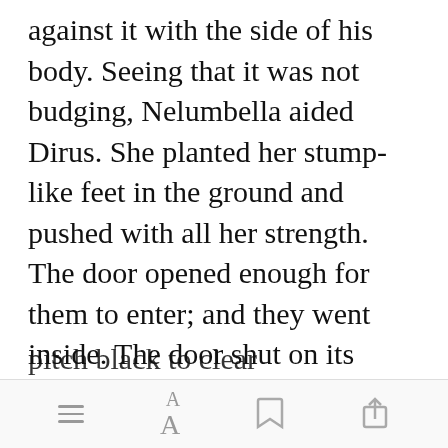against it with the side of his body. Seeing that it was not budging, Nelumbella aided Dirus. She planted her stump-like feet in the ground and pushed with all her strength. The door opened enough for them to enter; and they went inside. The door shut on its own. Nelumbella felt around in the dark, and she found what felt like a switch. She flicked it up. T[Open in app]on went from pitch black to clear
[hamburger menu] [font size AA] [bookmark] [share]